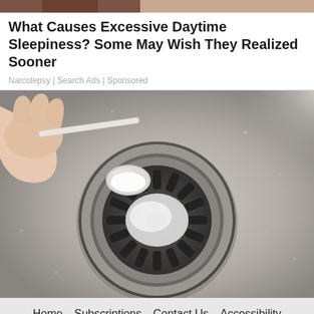[Figure (photo): Cropped top strip showing what appears to be skin/person at top of page]
What Causes Excessive Daytime Sleepiness? Some May Wish They Realized Sooner
Narcolepsy | Search Ads | Sponsored
[Figure (photo): A hand holding a spoon pouring white powder (baking soda) onto a stainless steel kitchen sink drain]
Home  Subscriptions  Contact Us  Accessibility  Cookie Policy  Privacy Policy